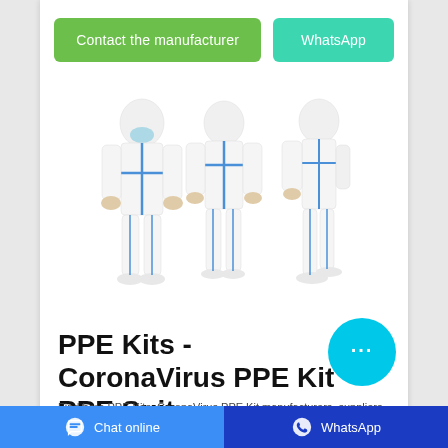[Figure (other): Two green and teal buttons: 'Contact the manufacturer' and 'WhatsApp']
[Figure (photo): Three views of a white PPE coverall suit with blue seams and hood — front, back, and side views on mannequins]
PPE Kits - CoronaVirus PPE Kit PPE Suit Manufacturers ...
Find here PPE Kits, CoronaVirus PPE Kit manufacturers, suppliers and exporters easily across India. PPE kit includes essential protective items like coverall suit, face mask, face Shield, head
[Figure (other): Cyan circular chat bubble icon with three dots (live chat button)]
Chat online    WhatsApp